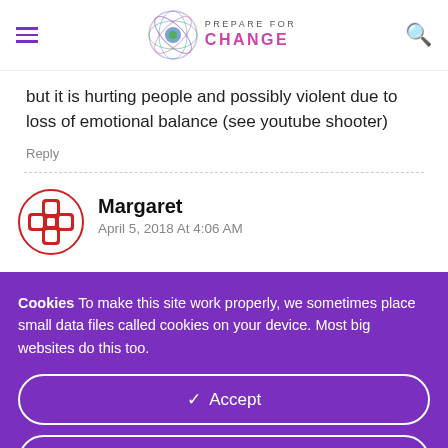PREPARE FOR CHANGE
but it is hurting people and possibly violent due to loss of emotional balance (see youtube shooter)
Reply
Margaret
April 5, 2018 At 4:06 AM
Cookies To make this site work properly, we sometimes place small data files called cookies on your device. Most big websites do this too.
✓ Accept
Change Settings ⚙